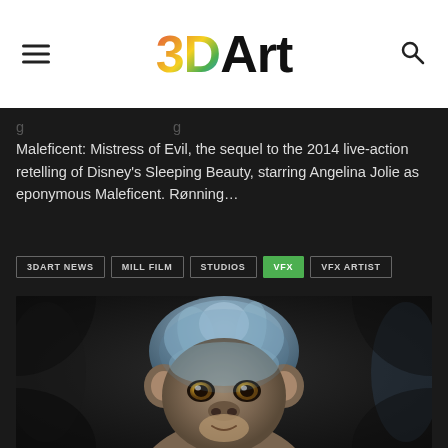3DArt
Maleficent: Mistress of Evil, the sequel to the 2014 live-action retelling of Disney's Sleeping Beauty, starring Angelina Jolie as eponymous Maleficent. Rønning...
3DART NEWS
MILL FILM
STUDIOS
VFX
VFX ARTIST
[Figure (photo): Close-up of a baby monkey (CGI/VFX creature) with blue-tinted fur and large eyes against a dark background]